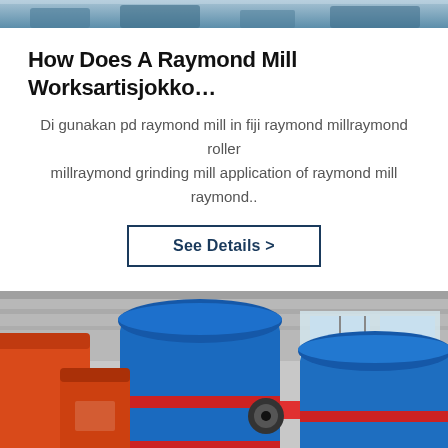[Figure (photo): Top cropped image of industrial machinery or factory scene]
How Does A Raymond Mill Worksartisjokko…
Di gunakan pd raymond mill in fiji raymond millraymond roller millraymond grinding mill application of raymond mill raymond..
See Details >
[Figure (photo): Factory floor with large blue and orange cylindrical Raymond mill grinding machines, Chinese text banners visible in background]
Leave Message
Chat Online